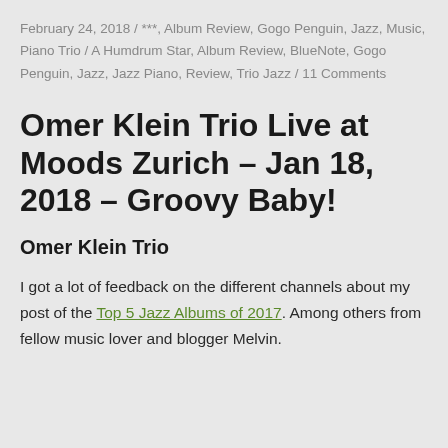February 24, 2018 / ***, Album Review, Gogo Penguin, Jazz, Music, Piano Trio / A Humdrum Star, Album Review, BlueNote, Gogo Penguin, Jazz, Jazz Piano, Review, Trio Jazz / 11 Comments
Omer Klein Trio Live at Moods Zurich – Jan 18, 2018 – Groovy Baby!
Omer Klein Trio
I got a lot of feedback on the different channels about my post of the Top 5 Jazz Albums of 2017. Among others from fellow music lover and blogger Melvin.